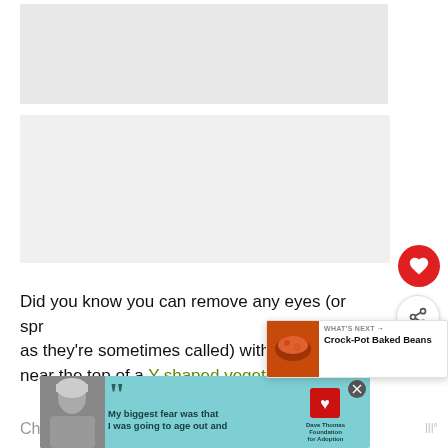[Figure (photo): Top portion showing a photo/image area (partially visible, mostly white/gray placeholder) occupying the upper portion of the page]
Did you know you can remove any eyes (or sprouts, as they're sometimes called) with the rounded end near the top of a Y-shaped vegetable peeler?
[Figure (photo): What's Next popup showing Crock-Pot Baked Beans with a food photo thumbnail]
[Figure (photo): Advertisement banner at the bottom: Dave Thomas Foundation for Adoption ad with a person in a beanie hat and quote text 'My biggest fear was that I was going to age out and']